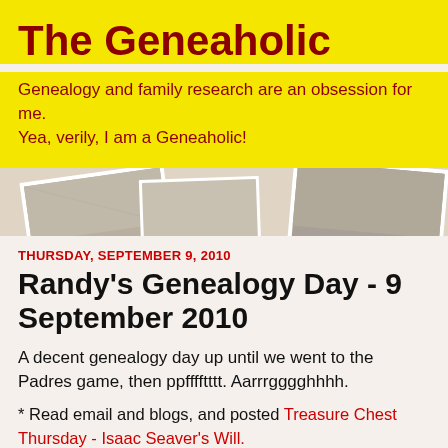The Geneaholic
Genealogy and family research are an obsession for me. Yea, verily, I am a Geneaholic!
[Figure (photo): Background strip of scattered old sepia photographs]
THURSDAY, SEPTEMBER 9, 2010
Randy's Genealogy Day - 9 September 2010
A decent genealogy day up until we went to the Padres game, then ppfffftttt. Aarrrgggghhhh.
* Read email and blogs, and posted Treasure Chest Thursday - Isaac Seaver's Will.
* Searched for something to post...saw the California 1852 State Census on Ancestry and went exploring, found the Whittle family as Wadle minus Joseph, so wrote I Found